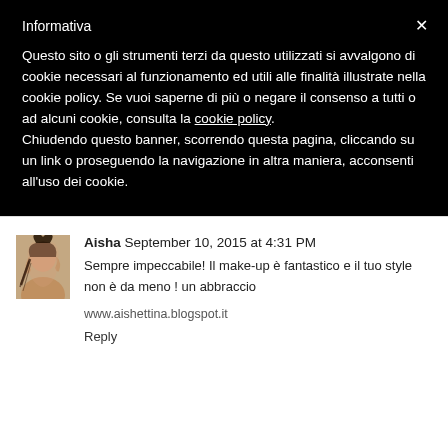Informativa
Questo sito o gli strumenti terzi da questo utilizzati si avvalgono di cookie necessari al funzionamento ed utili alle finalità illustrate nella cookie policy. Se vuoi saperne di più o negare il consenso a tutti o ad alcuni cookie, consulta la cookie policy. Chiudendo questo banner, scorrendo questa pagina, cliccando su un link o proseguendo la navigazione in altra maniera, acconsenti all'uso dei cookie.
[Figure (photo): Small avatar photo of a woman with braided hair, side profile view]
Aisha  September 10, 2015 at 4:31 PM
Sempre impeccabile! Il make-up è fantastico e il tuo style non è da meno ! un abbraccio
www.aishettina.blogspot.it
Reply